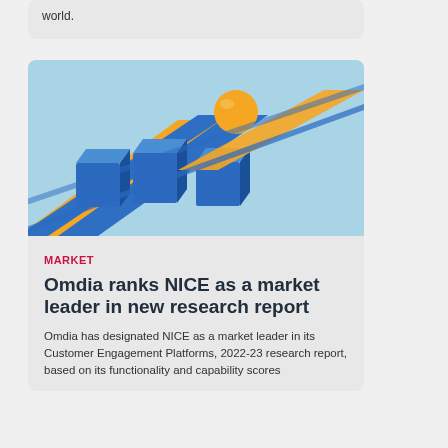world.
[Figure (photo): 3D illustration of blue rectangular blocks arranged as parallel tracks/lanes with an orange ball elevated on a separate orange track ahead of the blue cubes, suggesting leadership or standing out from the crowd. Light blue background.]
MARKET
Omdia ranks NICE as a market leader in new research report
Omdia has designated NICE as a market leader in its Customer Engagement Platforms, 2022-23 research report, based on its functionality and capability scores